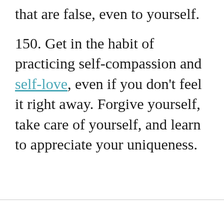that are false, even to yourself.
150. Get in the habit of practicing self-compassion and self-love, even if you don't feel it right away. Forgive yourself, take care of yourself, and learn to appreciate your uniqueness.